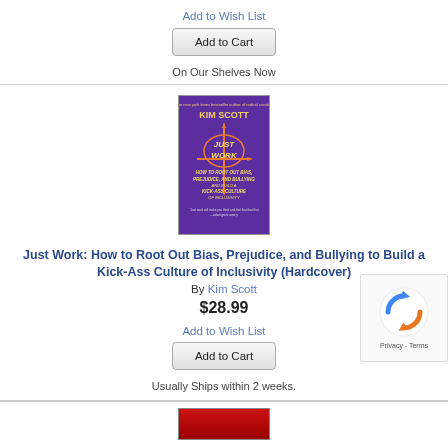Add to Wish List
Add to Cart
On Our Shelves Now
[Figure (photo): Book cover of 'Just Work' by Kim Scott — purple background with orange cross/arrow graphic and yellow title text]
Just Work: How to Root Out Bias, Prejudice, and Bullying to Build a Kick-Ass Culture of Inclusivity (Hardcover)
By Kim Scott
$28.99
Add to Wish List
Add to Cart
Usually Ships within 2 weeks.
[Figure (photo): Partial book cover with red background, cropped at bottom of page]